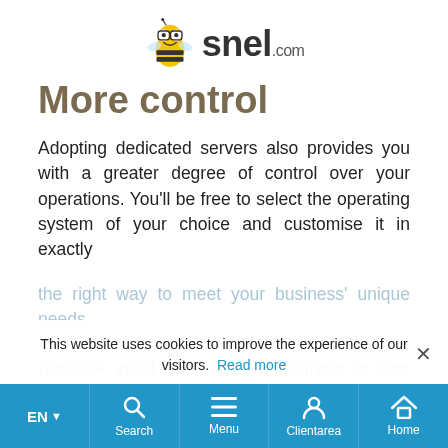[Figure (logo): Snel.com logo with bee mascot wearing glasses and the text 'snel.com']
More control
Adopting dedicated servers also provides you with a greater degree of control over your operations. You'll be free to select the operating system of your choice and customise it in exactly the right way to meet your business' unique needs.
Because you'll have full administrator or root access to all aspects of the solution, you'll be able to easily manage and customise your server environment.
This website uses cookies to improve the experience of our visitors. Read more
EN  Search  Menu  Clientarea  Home